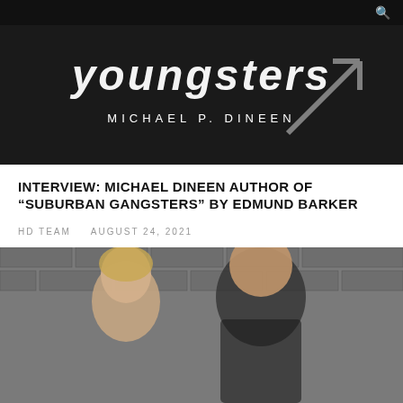[Figure (photo): Book cover for 'Suburban Gangsters' by Michael P. Dineen, showing stylized graffiti-style title text and a large arrow on dark background]
INTERVIEW: MICHAEL DINEEN AUTHOR OF “SUBURBAN GANGSTERS” BY EDMUND BARKER
HD TEAM   AUGUST 24, 2021
[Figure (photo): Photo of a young woman with blonde hair and a man wearing a floral shirt, standing in front of a brick wall background]